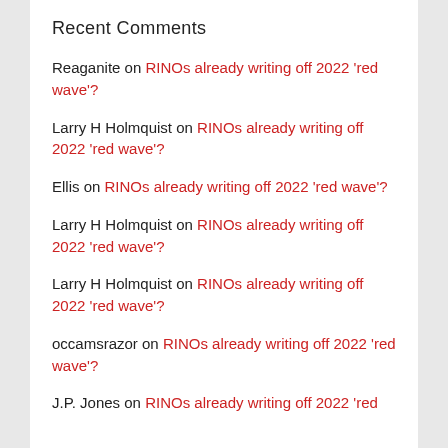Recent Comments
Reaganite on RINOs already writing off 2022 'red wave'?
Larry H Holmquist on RINOs already writing off 2022 'red wave'?
Ellis on RINOs already writing off 2022 'red wave'?
Larry H Holmquist on RINOs already writing off 2022 'red wave'?
Larry H Holmquist on RINOs already writing off 2022 'red wave'?
occamsrazor on RINOs already writing off 2022 'red wave'?
J.P. Jones on RINOs already writing off 2022 'red